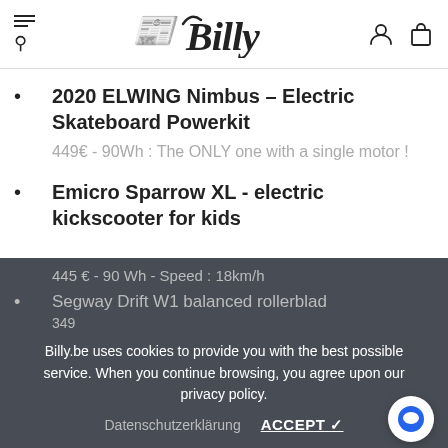Billy
2020 ELWING Nimbus – Electric Skateboard Powerkit
449€ - 90Wh : The ONLY one with a single motor !
Emicro Sparrow XL - electric kickscooter for kids
445 € - 90 Wh - Speed : 18km/h
Segway Drift W1 balanced rollerblades
349...
Billy.be uses cookies to provide you with the best possible service. When you continue browsing, you agree upon our privacy policy.
Datenschutzerklärung   ACCEPT ✓